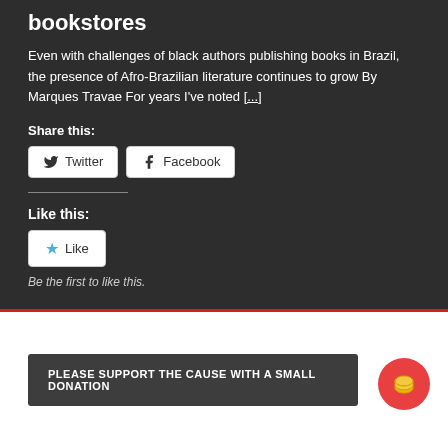bookstores
Even with challenges of black authors publishing books in Brazil, the presence of Afro-Brazilian literature continues to grow By Marques Travae For years I've noted [...]
Share this:
Twitter  Facebook
Like this:
Like
Be the first to like this.
PLEASE SUPPORT THE CAUSE WITH A SMALL DONATION